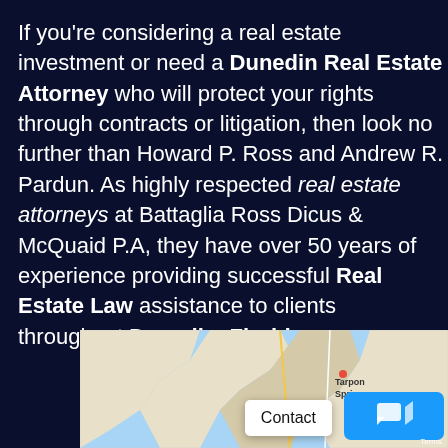If you're considering a real estate investment or need a Dunedin Real Estate Attorney who will protect your rights through contracts or litigation, then look no further than Howard P. Ross and Andrew R. Pardun. As highly respected real estate attorneys at Battaglia Ross Dicus & McQuaid P.A, they have over 50 years of experience providing successful Real Estate Law assistance to clients throughout Dunedin, Florida.
[Figure (map): Google Maps screenshot showing coastal area near Tarpon Springs and surrounding Florida waterways, with a Contact button and chat icon overlay.]